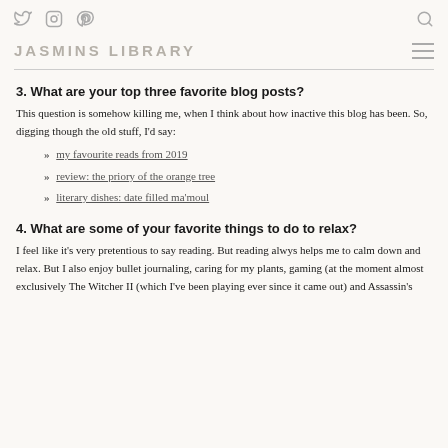Twitter | Instagram | Pinterest | Search — JASMINS LIBRARY
3. What are your top three favorite blog posts?
This question is somehow killing me, when I think about how inactive this blog has been. So, digging though the old stuff, I'd say:
» my favourite reads from 2019
» review: the priory of the orange tree
» literary dishes: date filled ma'moul
4. What are some of your favorite things to do to relax?
I feel like it's very pretentious to say reading. But reading alwys helps me to calm down and relax. But I also enjoy bullet journaling, caring for my plants, gaming (at the moment almost exclusively The Witcher II (which I've been playing ever since it came out) and Assassin's